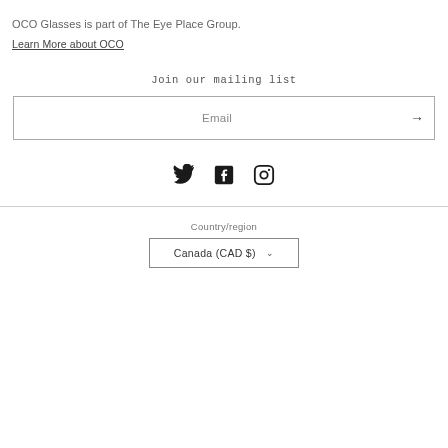OCO Glasses is part of The Eye Place Group.
Learn More about OCO
Join our mailing list
Email
[Figure (other): Twitter, Facebook, and Instagram social media icons in a row]
Country/region
Canada (CAD $)